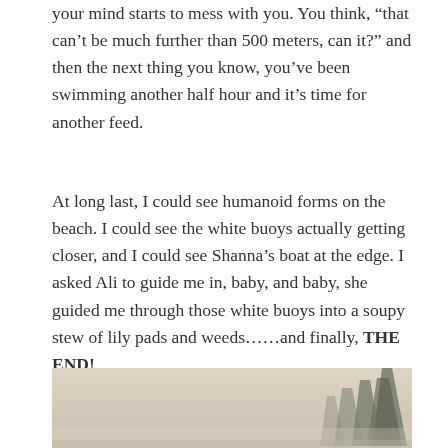your mind starts to mess with you. You think, “that can’t be much further than 500 meters, can it?” and then the next thing you know, you’ve been swimming another half hour and it’s time for another feed.
At long last, I could see humanoid forms on the beach. I could see the white buoys actually getting closer, and I could see Shanna’s boat at the edge. I asked Ali to guide me in, baby, and baby, she guided me through those white buoys into a soupy stew of lily pads and weeds……and finally, THE END!
[Figure (photo): A misty outdoor landscape scene with silhouettes of tall conifer trees visible on the right side against a pale, hazy beige sky background.]